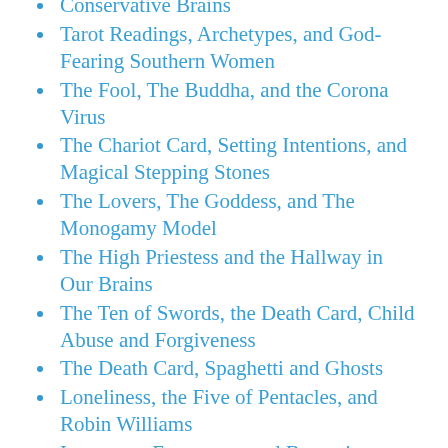Conservative Brains (partial, cut off at top)
Tarot Readings, Archetypes, and God-Fearing Southern Women
The Fool, The Buddha, and the Corona Virus
The Chariot Card, Setting Intentions, and Magical Stepping Stones
The Lovers, The Goddess, and The Monogamy Model
The High Priestess and the Hallway in Our Brains
The Ten of Swords, the Death Card, Child Abuse and Forgiveness
The Death Card, Spaghetti and Ghosts
Loneliness, the Five of Pentacles, and Robin Williams
Introverts, Extroverts, and Becoming a Cookie (partial, cut off at bottom)